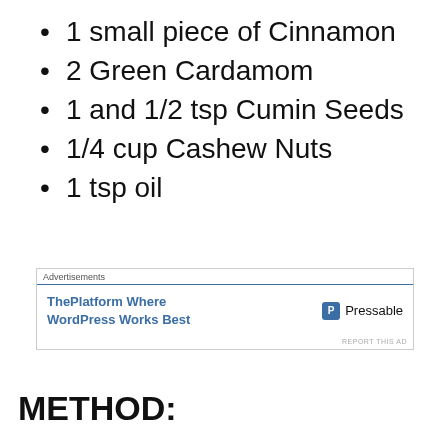1 small piece of Cinnamon
2 Green Cardamom
1 and 1/2 tsp Cumin Seeds
1/4 cup Cashew Nuts
1 tsp oil
[Figure (screenshot): Advertisement banner for ThePlatform Where WordPress Works Best by Pressable]
METHOD: